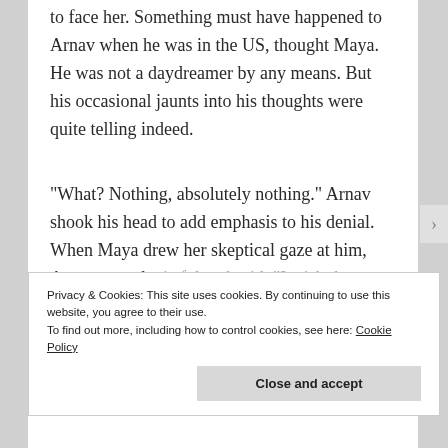to face her. Something must have happened to Arnav when he was in the US, thought Maya. He was not a daydreamer by any means. But his occasional jaunts into his thoughts were quite telling indeed.
“What? Nothing, absolutely nothing.” Arnav shook his head to add emphasis to his denial. When Maya drew her skeptical gaze at him, Arnav turned wistful and said, “I wish there was something to tell
Privacy & Cookies: This site uses cookies. By continuing to use this website, you agree to their use.
To find out more, including how to control cookies, see here: Cookie Policy
Close and accept